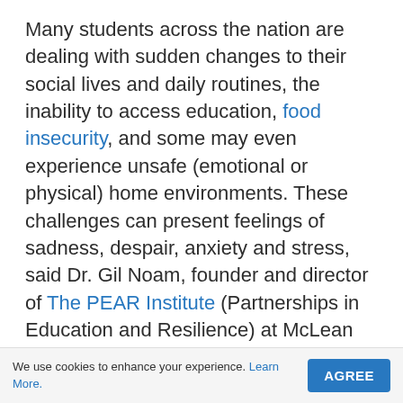Many students across the nation are dealing with sudden changes to their social lives and daily routines, the inability to access education, food insecurity, and some may even experience unsafe (emotional or physical) home environments. These challenges can present feelings of sadness, despair, anxiety and stress, said Dr. Gil Noam, founder and director of The PEAR Institute (Partnerships in Education and Resilience) at McLean Hospital and Harvard Medical School.

Parents, who are already struggling to balance telework and childcare, should try to focus daily on creating a positive home environment and continuing to build quality relationships with
We use cookies to enhance your experience. Learn More. AGREE